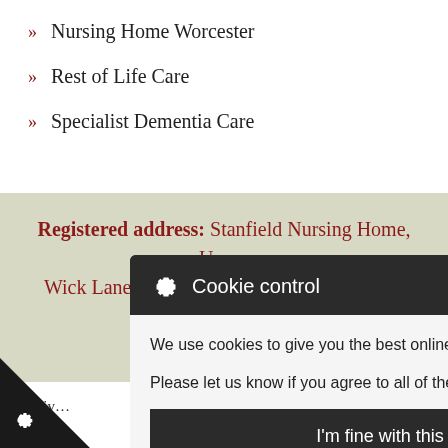» Nursing Home Worcester
» Rest of Life Care
» Specialist Dementia Care
Registered address: Stanfield Nursing Home, Upper Wick Lane, Rushwick, Worcester WR2 5SU, Company ...5639
Privacy  |  Cookie Details
[Figure (screenshot): Cookie control popup with gear icon, title 'Cookie control', close X button, message about cookies, 'I'm fine with this' button, and Information and Settings / Cookie policy links]
...sing Home,
Website designed by AIM Internet - A Digital Agency